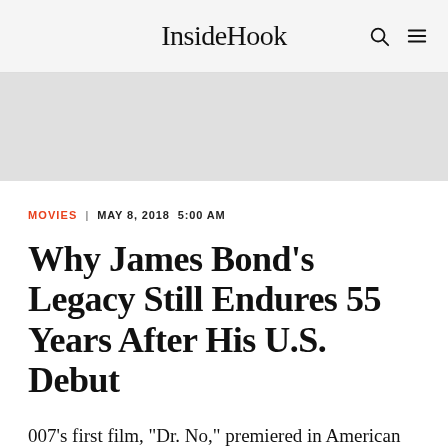InsideHook
[Figure (other): Advertisement placeholder box, light gray background]
MOVIES | MAY 8, 2018 5:00 AM
Why James Bond's Legacy Still Endures 55 Years After His U.S. Debut
007's first film, "Dr. No," premiered in American theaters on May 8, 1963.